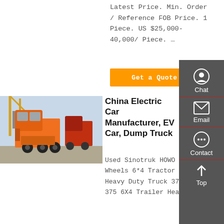Latest Price. Min. Order / Reference FOB Price. 1 Piece. US $25,000-40,000/ Piece. …
Get a Quote
[Figure (photo): Orange Sinotruk HOWO tractor truck parked in a lot with cranes visible in the background]
China Electric Car Manufacturer, EV Car, Dump Truck
Used Sinotruk HOWO 10X Wheels 6*4 Tractor Truck Heavy Duty Truck 371HP 375 6X4 Trailer Head